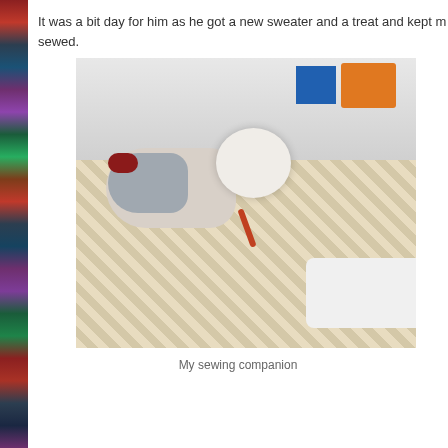It was a bit day for him as he got a new sweater and a treat and kept me company while I sewed.
[Figure (photo): A small white fluffy dog wearing a grey sweater with a red collar detail, lying on a patterned blanket and chewing on a treat stick. A sewing machine is visible in the bottom right corner. Various craft supplies and boxes are in the background.]
My sewing companion